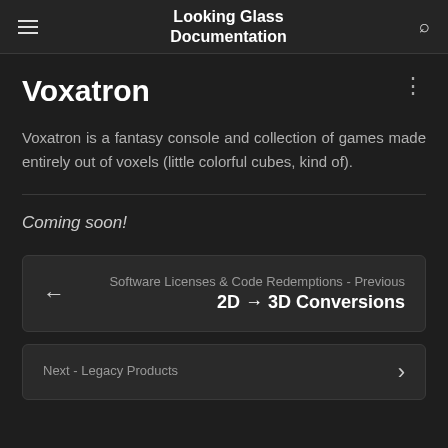Looking Glass Documentation
Voxatron
Voxatron is a fantasy console and collection of games made entirely out of voxels (little colorful cubes, kind of).
Coming soon!
Software Licenses & Code Redemptions - Previous
2D → 3D Conversions
Next - Legacy Products